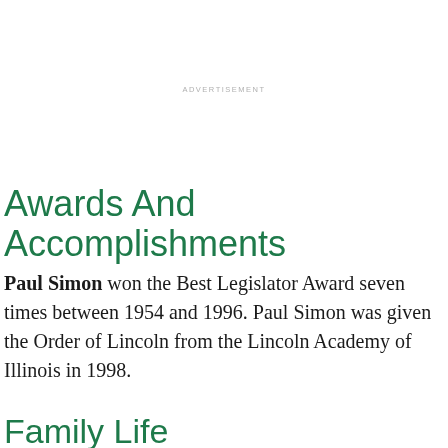ADVERTISEMENT
Awards And Accomplishments
Paul Simon won the Best Legislator Award seven times between 1954 and 1996. Paul Simon was given the Order of Lincoln from the Lincoln Academy of Illinois in 1998.
Family Life
Paul Simon married Jeanne Hurley in 1960. This